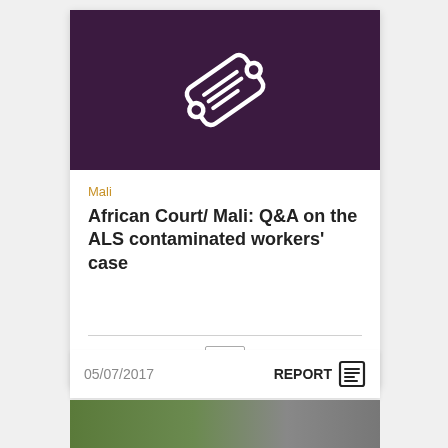[Figure (illustration): Dark purple card header with a white ticket/document icon rotated diagonally]
Mali
African Court/ Mali: Q&A on the ALS contaminated workers' case
FR
05/07/2017
REPORT
[Figure (photo): Bottom strip showing partial nature/outdoor photographs]